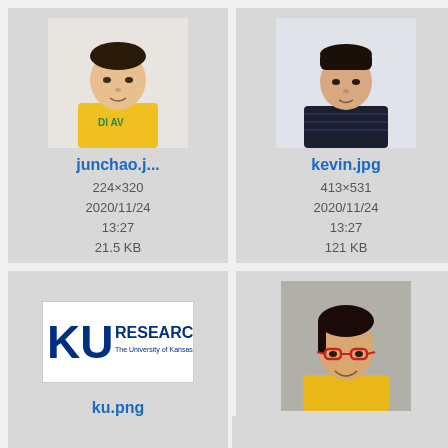[Figure (photo): Thumbnail of junchao.jpg - young man in yellow shirt, 224x320, 2020/11/24 13:27, 21.5 KB]
[Figure (photo): Thumbnail of kevin.jpg - young man in dark striped shirt, 413x531, 2020/11/24 13:27, 121 KB]
[Figure (screenshot): Partial cell on right edge]
[Figure (logo): KU RESEARCH - The University of Kansas logo, ku.png, 204x64, 2020/11/24 13:27, 12.2 KB]
[Figure (photo): leishi.jpg - woman with red glasses in yellow shirt, 150x209, 2020/11/24 13:27, 20.4 KB]
[Figure (screenshot): Partial cell (lia...) on right edge]
[Figure (screenshot): Bottom partial cells]